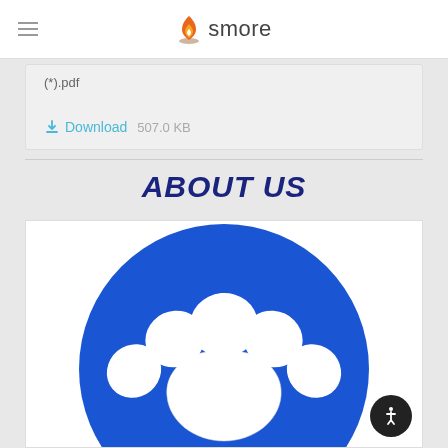smore
(*).pdf
⬇ Download   507.0 KB
ABOUT US
[Figure (illustration): Blue circle with white paw print logo on white background]